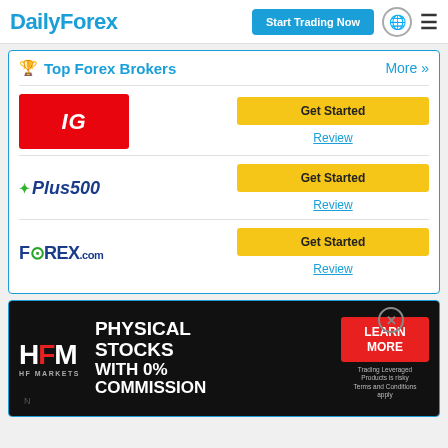DailyForex | Start Trading Now
Top Forex Brokers
More »
[Figure (logo): IG broker logo — white italic IG text on red background]
Get Started
Review
[Figure (logo): Plus500 broker logo — navy italic Plus500 text with green cross symbol]
Get Started
Review
[Figure (logo): FOREX.com broker logo — navy FOREX.com text with green circle O]
Get Started
Review
[Figure (illustration): HFM advertisement banner: dark background with HF Markets logo, text PHYSICAL STOCKS WITH 0% COMMISSION, red LEARN MORE button, and trading risk disclaimer]